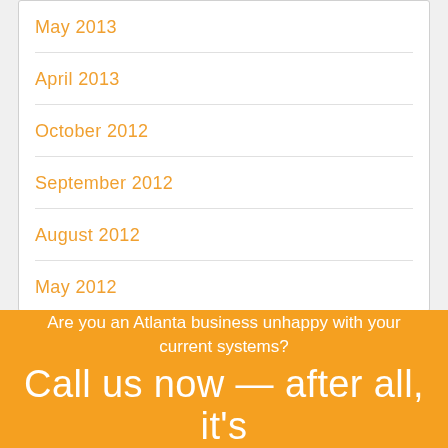May 2013
April 2013
October 2012
September 2012
August 2012
May 2012
Are you an Atlanta business unhappy with your current systems?
Call us now — after all, it's